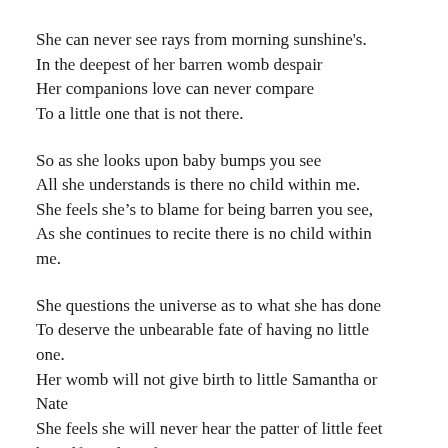She can never see rays from morning sunshine's.
In the deepest of her barren womb despair
Her companions love can never compare
To a little one that is not there.
So as she looks upon baby bumps you see
All she understands is there no child within me.
She feels she’s to blame for being barren you see,
As she continues to recite there is no child within me.
She questions the universe as to what she has done
To deserve the unbearable fate of having no little one.
Her womb will not give birth to little Samantha or Nate
She feels she will never hear the patter of little feet herself proclaim fate.